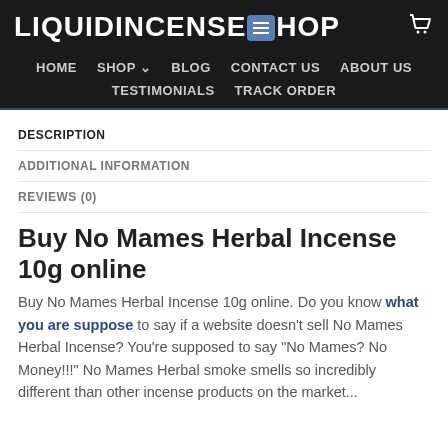LIQUIDINCENSESHOP
HOME  SHOP  BLOG  CONTACT US  ABOUT US  TESTIMONIALS  TRACK ORDER
DESCRIPTION
ADDITIONAL INFORMATION
REVIEWS (0)
Buy No Mames Herbal Incense 10g online
Buy No Mames Herbal Incense 10g online. Do you know what you are suppose to say if a website doesn't sell No Mames Herbal Incense? You're supposed to say "No Mames? No Money!!!" No Mames Herbal smoke smells so incredibly different than other incense products on the market...